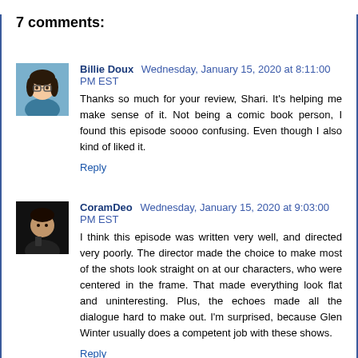7 comments:
Billie Doux  Wednesday, January 15, 2020 at 8:11:00 PM EST
Thanks so much for your review, Shari. It's helping me make sense of it. Not being a comic book person, I found this episode soooo confusing. Even though I also kind of liked it.
Reply
CoramDeo  Wednesday, January 15, 2020 at 9:03:00 PM EST
I think this episode was written very well, and directed very poorly. The director made the choice to make most of the shots look straight on at our characters, who were centered in the frame. That made everything look flat and uninteresting. Plus, the echoes made all the dialogue hard to make out. I'm surprised, because Glen Winter usually does a competent job with these shows.
Reply